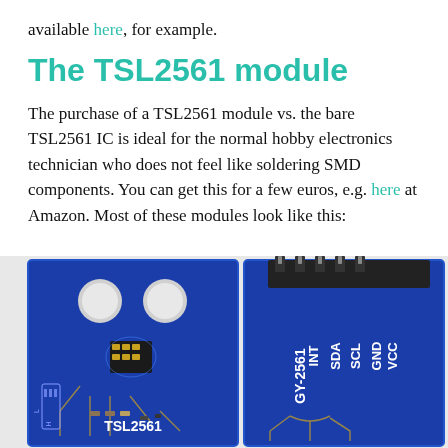available here, for example.
The TSL2561 module
The purchase of a TSL2561 module vs. the bare TSL2561 IC is ideal for the normal hobby electronics technician who does not feel like soldering SMD components. You can get this for a few euros, e.g. here at Amazon. Most of these modules look like this:
[Figure (photo): Two views of a TSL2561 GY-2561 module PCB. Left: top view of the blue PCB showing the TSL2561 chip, SMD components, and two circular pads. Right: side/edge view showing the pin header connectors labeled INT, SDA, SCL, GND, VCC and the board label GY-2561.]